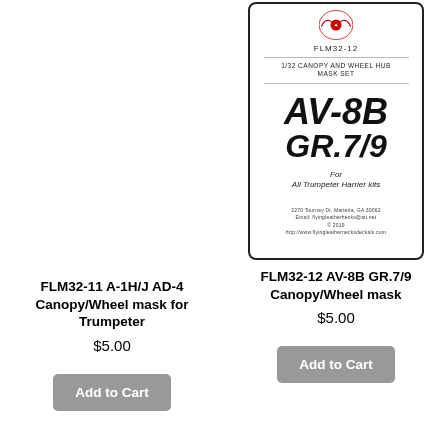[Figure (illustration): Product label card for FLM32-12 AV-8B GR.7/9 1/32 Canopy and Wheel Hub Mask Set, showing logo, product number, aircraft names in bold italic, and address info]
FLM32-11 A-1H/J AD-4
Canopy/Wheel mask for Trumpeter
$5.00
Add to Cart
FLM32-12 AV-8B GR.7/9 Canopy/Wheel mask
$5.00
Add to Cart